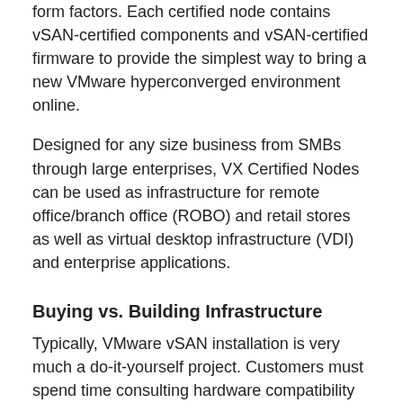form factors. Each certified node contains vSAN-certified components and vSAN-certified firmware to provide the simplest way to bring a new VMware hyperconverged environment online.
Designed for any size business from SMBs through large enterprises, VX Certified Nodes can be used as infrastructure for remote office/branch office (ROBO) and retail stores as well as virtual desktop infrastructure (VDI) and enterprise applications.
Buying vs. Building Infrastructure
Typically, VMware vSAN installation is very much a do-it-yourself project. Customers must spend time consulting hardware compatibility lists and ensuring that only the right components and right firmware revisions are used. ThinkAgile VX Certified Nodes eliminate all of that time and effort by ensuring that only certified components and firmware can be used.
VX Certified Nodes arrive at your door with the hardware already installed and configured and using the right version of firmware, making it easy to integrate it into your